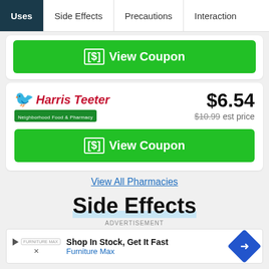Uses | Side Effects | Precautions | Interactions
[Figure (screenshot): Green View Coupon button (partial, top card)]
[Figure (logo): Harris Teeter Neighborhood Food & Pharmacy logo]
$6.54 — $10.99 est price
[Figure (screenshot): Green View Coupon button for Harris Teeter]
View All Pharmacies
Side Effects
ADVERTISEMENT
[Figure (screenshot): Advertisement banner: Shop In Stock, Get It Fast — Furniture Max]